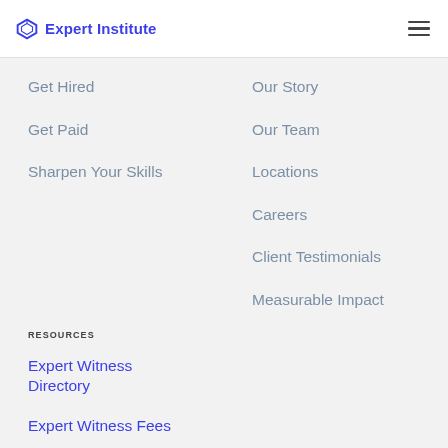Expert Institute
Get Hired
Get Paid
Sharpen Your Skills
Our Story
Our Team
Locations
Careers
Client Testimonials
Measurable Impact
RESOURCES
Expert Witness Directory
Expert Witness Fees